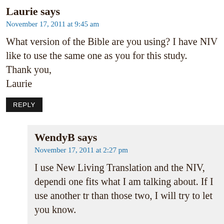Laurie says
November 17, 2011 at 9:45 am
What version of the Bible are you using? I have NIV like to use the same one as you for this study. Thank you, Laurie
REPLY
WendyB says
November 17, 2011 at 2:27 pm
I use New Living Translation and the NIV, dependi one fits what I am talking about. If I use another tr than those two, I will try to let you know. W
REPLY